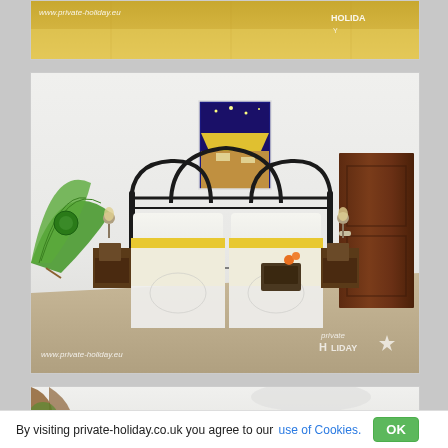[Figure (photo): Top partial photo showing yellow bed linen with www.private-holiday.eu watermark and Private Holiday logo]
[Figure (photo): Bedroom with twin beds with yellow runners, black wrought-iron headboard, Van Gogh Café Terrace print on wall, green decorative fan on left wall, bedside lamps, wooden door on right, towel/bag set on bed, www.private-holiday.eu watermark and Private Holiday star logo]
[Figure (photo): Bottom partial photo showing another bedroom view with similar decor]
By visiting private-holiday.co.uk you agree to our use of Cookies. OK